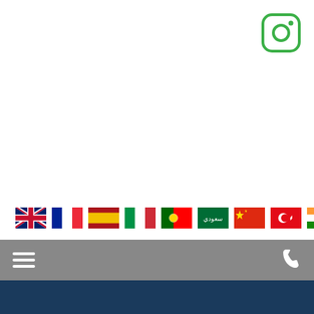[Figure (logo): Instagram logo icon, rounded square outline with camera symbol, green color]
[Figure (infographic): Row of 9 country flag icons: UK, France, Spain, Italy, Portugal, Saudi Arabia, China, Turkey, India]
[Figure (infographic): Grey navigation bar with hamburger menu icon on left and phone icon on right]
On tropicalseeds.com we use different types of cookies. Please indicate below which types of cookies you want to use on our website. If you don't make any choice of the options below we only place functional cookies. Read more about cookies on our Privacy statement.
Analytics  OK